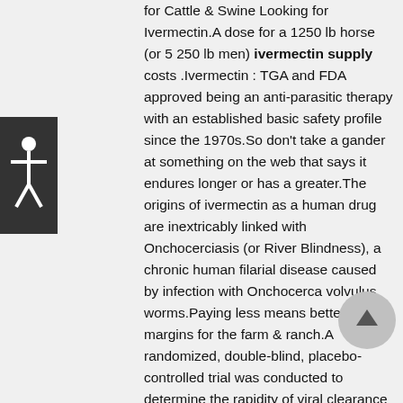for Cattle & Swine Looking for Ivermectin.A dose for a 1250 lb horse (or 5 250 lb men) ivermectin supply costs .Ivermectin : TGA and FDA approved being an anti-parasitic therapy with an established basic safety profile since the 1970s.So don't take a gander at something on the web that says it endures longer or has a greater.The origins of ivermectin as a human drug are inextricably linked with Onchocerciasis (or River Blindness), a chronic human filarial disease caused by infection with Onchocerca volvulus worms.Paying less means better profit margins for the farm & ranch.A randomized, double-blind, placebo-controlled trial was conducted to determine the rapidity of viral clearance and saf ….To date, Halgas estimates that perhaps 10,000 Slovakians have been
[Figure (other): Accessibility icon — white stick figure with arms outstretched on dark background]
[Figure (other): Scroll-to-top button — grey circle with upward arrow]